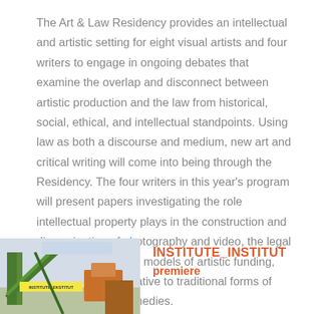The Art & Law Residency provides an intellectual and artistic setting for eight visual artists and four writers to engage in ongoing debates that examine the overlap and disconnect between artistic production and the law from historical, social, ethical, and intellectual standpoints. Using law as both a discourse and medium, new art and critical writing will come into being through the Residency. The four writers in this year's program will present papers investigating the role intellectual property plays in the construction and dissemination of photography and video, the legal issues affecting new models of artistic funding, and art as an alternative to traditional forms of justice and legal remedies.
[Figure (photo): Photograph showing a colorful outdoor scene with signs/banners reading INSTITUTE_INSTITUT with green and orange/yellow elements against a light sky background.]
INSTITUTE_INSTITUT
premiere